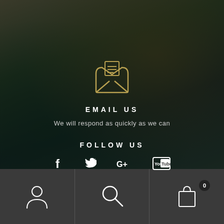[Figure (illustration): Golden open envelope icon with letter lines inside, on dark mountain landscape background]
EMAIL US
We will respond as quickly as we can
FOLLOW US
[Figure (infographic): Social media icons: Facebook (f), Twitter (bird), Google+ (G+), YouTube (You button)]
[Figure (infographic): Bottom navigation bar with three cells: user/person icon, search/magnifying glass icon, shopping bag icon with badge showing 0]